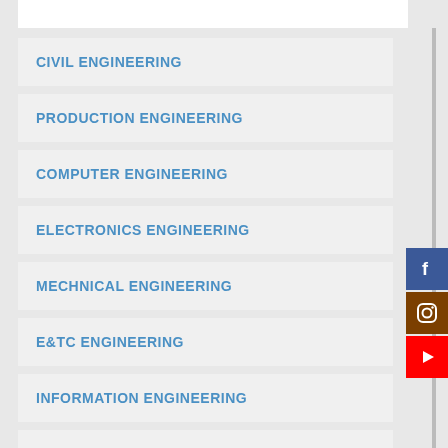CIVIL ENGINEERING
PRODUCTION ENGINEERING
COMPUTER ENGINEERING
ELECTRONICS ENGINEERING
MECHNICAL ENGINEERING
E&TC ENGINEERING
INFORMATION ENGINEERING
ELECTRICAL ENGINEERING
[Figure (logo): Facebook logo icon - blue square with white F]
[Figure (logo): Instagram logo icon - brown square with camera icon]
[Figure (logo): YouTube logo icon - red square with white play button]